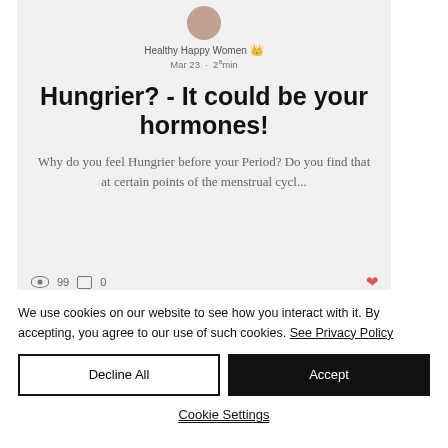[Figure (screenshot): Blog post card from 'Healthy Happy Women' website showing article titled 'Hungrier? - It could be your hormones!' with excerpt and engagement stats]
We use cookies on our website to see how you interact with it. By accepting, you agree to our use of such cookies. See Privacy Policy
Decline All
Accept
Cookie Settings